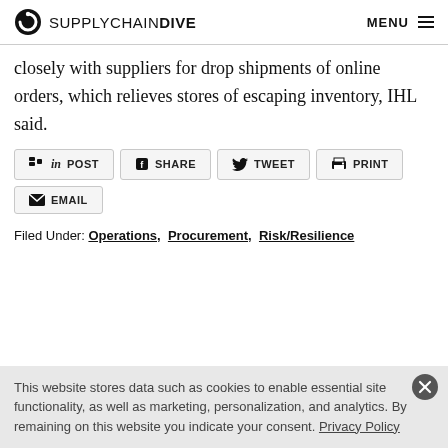SUPPLYCHAIN DIVE  MENU
closely with suppliers for drop shipments of online orders, which relieves stores of escaping inventory, IHL said.
[Figure (other): Social sharing buttons: POST (LinkedIn), SHARE (Facebook), TWEET (Twitter), PRINT, EMAIL]
Filed Under: Operations, Procurement, Risk/Resilience
This website stores data such as cookies to enable essential site functionality, as well as marketing, personalization, and analytics. By remaining on this website you indicate your consent. Privacy Policy